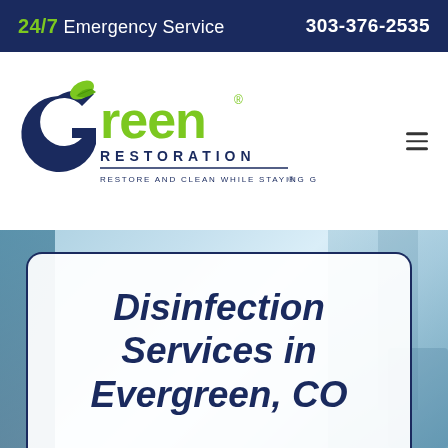24/7 Emergency Service  |  303-376-2535
[Figure (logo): Green Restoration logo with green leaf-G icon, dark blue RESTORATION text, and tagline RESTORE AND CLEAN WHILE STAYING GREEN®]
Disinfection Services in Evergreen, CO